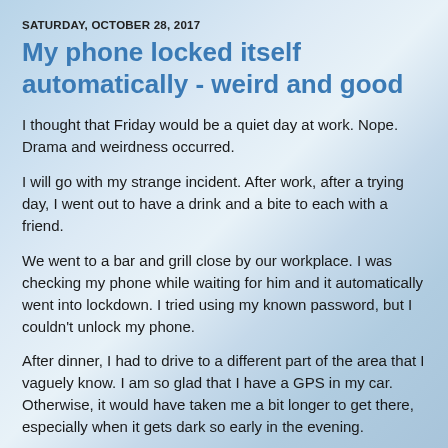SATURDAY, OCTOBER 28, 2017
My phone locked itself automatically - weird and good
I thought that Friday would be a quiet day at work. Nope. Drama and weirdness occurred.
I will go with my strange incident. After work, after a trying day, I went out to have a drink and a bite to each with a friend.
We went to a bar and grill close by our workplace. I was checking my phone while waiting for him and it automatically went into lockdown. I tried using my known password, but I couldn't unlock my phone.
After dinner, I had to drive to a different part of the area that I vaguely know. I am so glad that I have a GPS in my car. Otherwise, it would have taken me a bit longer to get there, especially when it gets dark so early in the evening.